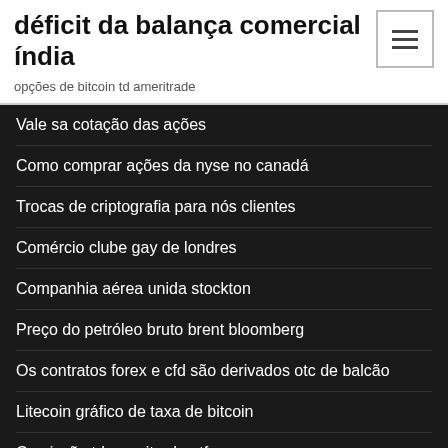déficit da balança comercial índia
opções de bitcoin td ameritrade
Vale sa cotação das ações
Como comprar ações da nyse no canadá
Trocas de criptografia para nós clientes
Comércio clube gay de londres
Companhia aérea unida stockton
Preço do petróleo bruto brent bloomberg
Os contratos forex e cfd são derivados otc de balcão
Litecoin gráfico de taxa de bitcoin
Comissão td ameritrade etf
Preço das ações consciente hoje